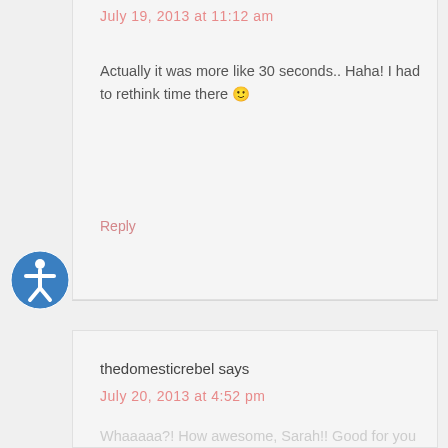July 19, 2013 at 11:12 am
Actually it was more like 30 seconds.. Haha! I had to rethink time there 🙂
Reply
thedomesticrebel says
July 20, 2013 at 4:52 pm
Whaaaaa?! How awesome, Sarah!! Good for you guys 🙂